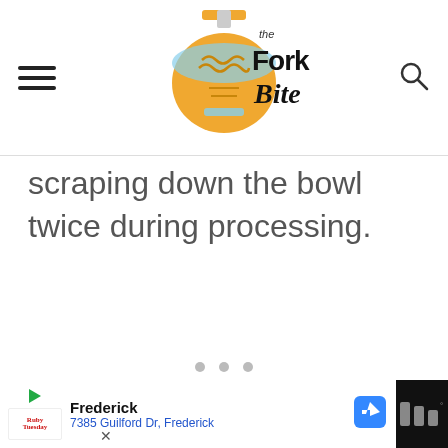The Fork Bite
scraping down the bowl twice during processing.
[Figure (photo): Gray placeholder image area with carousel dots]
Frederick 7385 Guilford Dr, Frederick